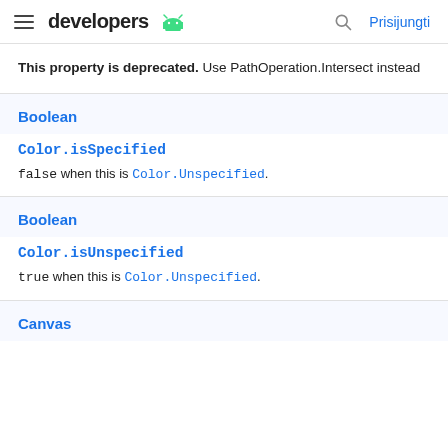developers  [android logo]  Prisijungti
This property is deprecated. Use PathOperation.Intersect instead
Boolean
Color.isSpecified
false when this is Color.Unspecified.
Boolean
Color.isUnspecified
true when this is Color.Unspecified.
Canvas